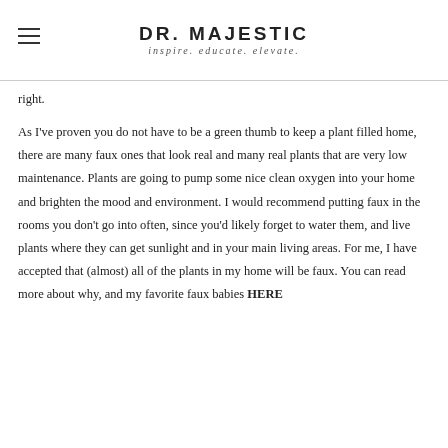DR. MAJESTIC inspire. educate. elevate.
right.
As I've proven you do not have to be a green thumb to keep a plant filled home, there are many faux ones that look real and many real plants that are very low maintenance. Plants are going to pump some nice clean oxygen into your home and brighten the mood and environment. I would recommend putting faux in the rooms you don't go into often, since you'd likely forget to water them, and live plants where they can get sunlight and in your main living areas. For me, I have accepted that (almost) all of the plants in my home will be faux. You can read more about why, and my favorite faux babies HERE